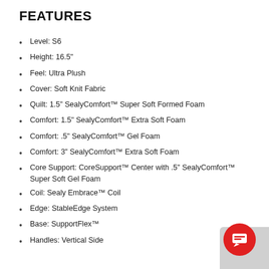FEATURES
Level: S6
Height: 16.5"
Feel: Ultra Plush
Cover: Soft Knit Fabric
Quilt: 1.5" SealyComfort™ Super Soft Formed Foam
Comfort: 1.5" SealyComfort™ Extra Soft Foam
Comfort: .5" SealyComfort™ Gel Foam
Comfort: 3" SealyComfort™ Extra Soft Foam
Core Support: CoreSupport™ Center with .5" SealyComfort™ Super Soft Gel Foam
Coil: Sealy Embrace™ Coil
Edge: StableEdge System
Base: SupportFlex™
Handles: Vertical Side